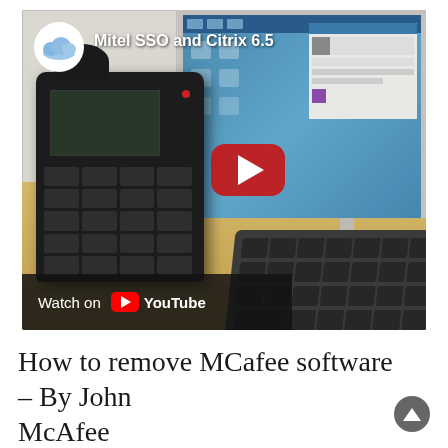[Figure (screenshot): YouTube video thumbnail showing 'Mitel SSO and Citrix 6.5' — an office desk scene with a Mitel IP phone, computer monitor displaying a Windows desktop with icons, and a keyboard. A red YouTube play button is centered. A 'Watch on YouTube' bar is at the bottom left. The channel icon (cloud logo) and video title appear top left.]
How to remove MCafee software – By John McAfee